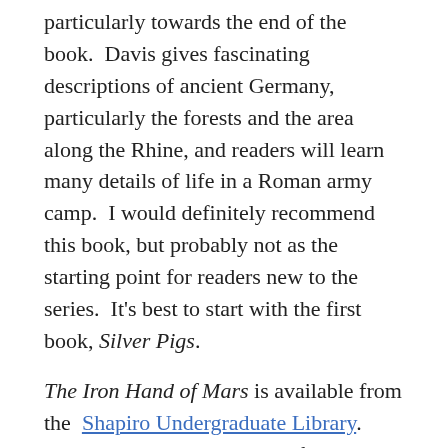particularly towards the end of the book.  Davis gives fascinating descriptions of ancient Germany, particularly the forests and the area along the Rhine, and readers will learn many details of life in a Roman army camp.  I would definitely recommend this book, but probably not as the starting point for readers new to the series.  It's best to start with the first book, Silver Pigs.
The Iron Hand of Mars is available from the Shapiro Undergraduate Library.  Silver Pigs can be borrowed from the Shapiro Undergraduate Library or the Hatcher Graduate Library's Children's Literature Collection (even though it's not really a children's novel).